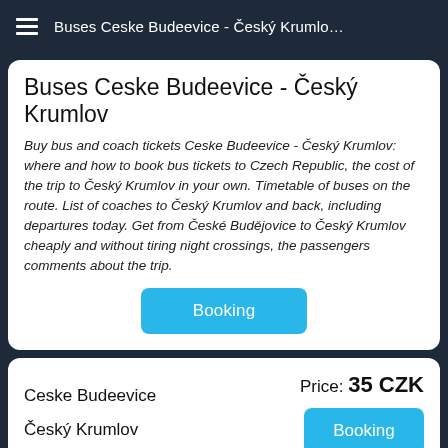Buses Ceske Budeevice - Český Krumlo…
Buses Ceske Budeevice - Český Krumlov
Buy bus and coach tickets Ceske Budeevice - Český Krumlov: where and how to book bus tickets to Czech Republic, the cost of the trip to Český Krumlov in your own. Timetable of buses on the route. List of coaches to Český Krumlov and back, including departures today. Get from České Budějovice to Český Krumlov cheaply and without tiring night crossings, the passengers comments about the trip.
Booking
Ceske Budeevice
Price: 35 CZK
Český Krumlov
Booking
Route on map